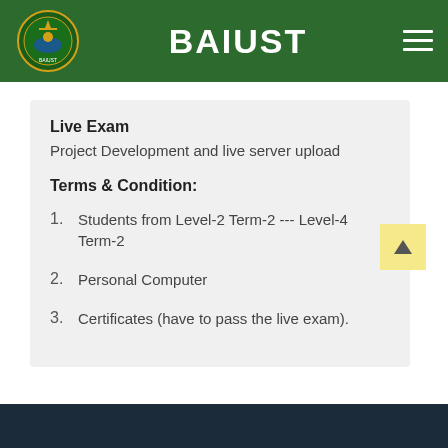BAIUST
Live Exam
Project Development and live server upload
Terms & Condition:
Students from Level-2 Term-2 --- Level-4 Term-2
Personal Computer
Certificates (have to pass the live exam).